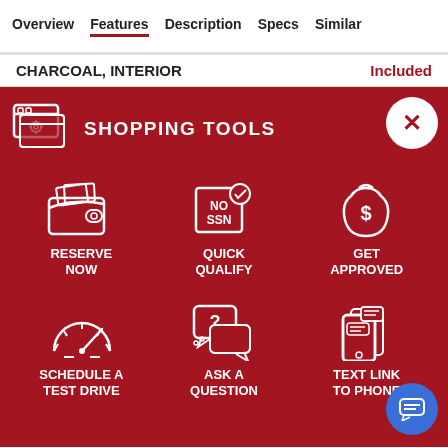Overview  Features  Description  Specs  Similar
CHARCOAL, INTERIOR   Included
[Figure (infographic): Shopping tools panel on red background with icons: Reserve Now (wallet), Quick Qualify (NO SSN badge), Get Approved (money bag), Schedule a Test Drive (speedometer), Ask a Question (chat bubble with question mark), Text Link to Phone (mobile phone with message). Close button (X) in white circle top right. Chat button (blue circle) bottom right.]